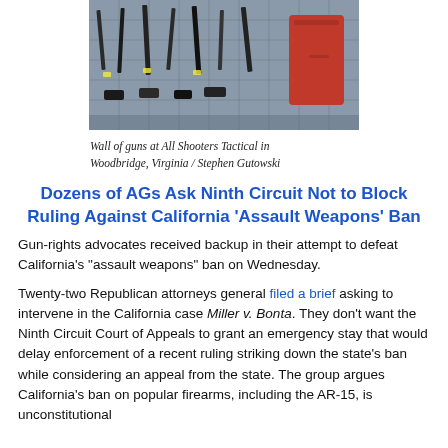[Figure (photo): Wall of guns displayed on a grid rack at All Shooters Tactical gun store]
Wall of guns at All Shooters Tactical in Woodbridge, Virginia / Stephen Gutowski
Dozens of AGs Ask Ninth Circuit Not to Block Ruling Against California ‘Assault Weapons’ Ban
Gun-rights advocates received backup in their attempt to defeat California’s “assault weapons” ban on Wednesday.
Twenty-two Republican attorneys general filed a brief asking to intervene in the California case Miller v. Bonta. They don’t want the Ninth Circuit Court of Appeals to grant an emergency stay that would delay enforcement of a recent ruling striking down the state’s ban while considering an appeal from the state. The group argues California’s ban on popular firearms, including the AR-15, is unconstitutional